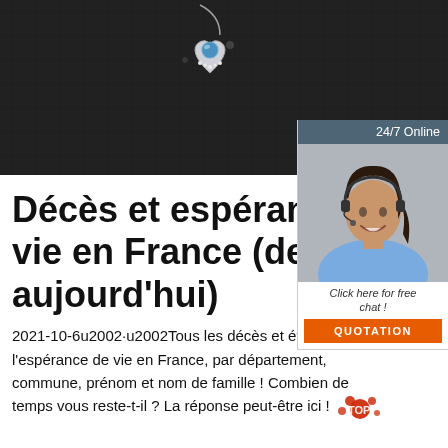[Figure (photo): Dark fabric background with silver heart-shaped pendant necklace featuring a blue gemstone center, photographed close-up]
[Figure (photo): Advertisement panel: '24/7 Online' header on dark teal background, photo of smiling woman with headset on grey background, 'Click here for free chat!' text, orange QUOTATION button]
Décès et espérance de vie en France (de 1970 à aujourd'hui)
2021-10-6u2002·u2002Tous les décès et évolution de l'espérance de vie en France, par département, commune, prénom et nom de famille ! Combien de temps vous reste-t-il ? La réponse peut-être ici !